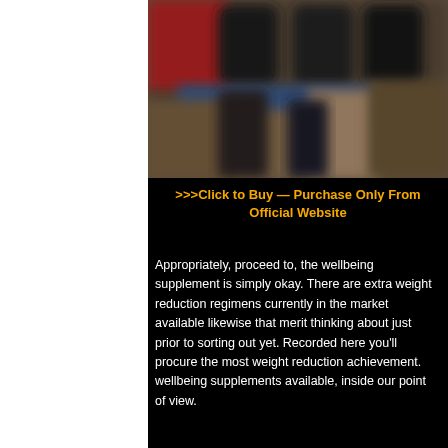[Figure (photo): Blurred/out-of-focus image showing what appears to be supplement bottles or product containers on shelves, with red, blue, and brown tones.]
>>>Click to Buy — Purchase Only From Official Website
Appropriately, proceed to, the wellbeing supplement is simply okay. There are extra weight reduction regimens currently in the market available likewise that merit thinking about just prior to sorting out yet. Recorded here you'll procure the most weight reduction achievement. wellbeing supplements available, inside our point of view.